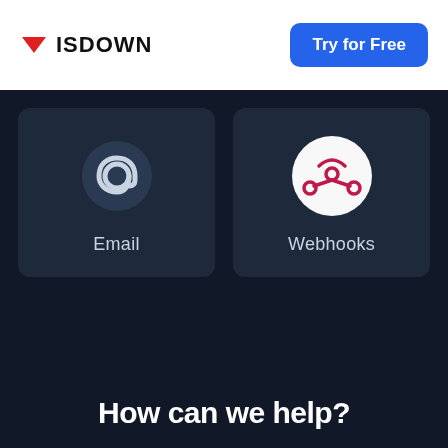[Figure (logo): ISDOWN logo with red downward triangle and bold text ISDOWN]
Try for Free
[Figure (illustration): Email card with @ symbol icon and label Email]
[Figure (illustration): Webhooks card with webhook logo icon and label Webhooks]
How can we help?